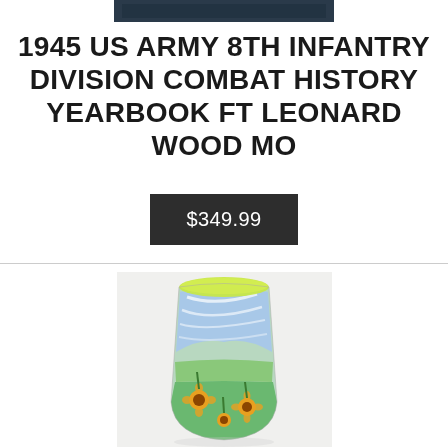[Figure (photo): Dark colored product image at top, partially cropped]
1945 US ARMY 8TH INFANTRY DIVISION COMBAT HISTORY YEARBOOK FT LEONARD WOOD MO
$349.99
[Figure (photo): Decorative art glass vase with blue swirls and floral/sunflower design on green base, yellow rim]